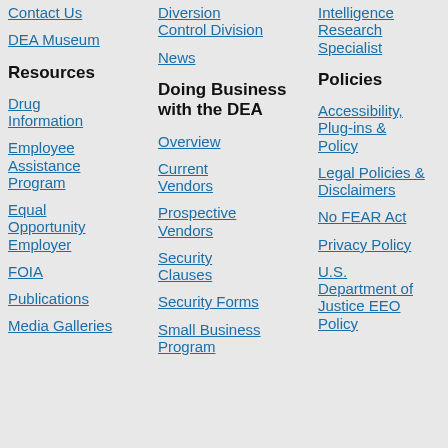Contact Us
DEA Museum
Resources
Drug Information
Employee Assistance Program
Equal Opportunity Employer
FOIA
Publications
Media Galleries
Diversion Control Division
News
Doing Business with the DEA
Overview
Current Vendors
Prospective Vendors
Security Clauses
Security Forms
Small Business Program
Intelligence Research Specialist
Policies
Accessibility, Plug-ins & Policy
Legal Policies & Disclaimers
No FEAR Act
Privacy Policy
U.S. Department of Justice EEO Policy